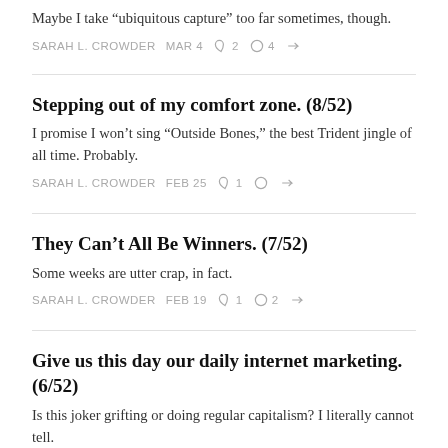Maybe I take “ubiquitous capture” too far sometimes, though.
SARAH L. CROWDER   MAR 4   ♡ 2   ○ 4   ↦
Stepping out of my comfort zone. (8/52)
I promise I won’t sing “Outside Bones,” the best Trident jingle of all time. Probably.
SARAH L. CROWDER   FEB 25   ♡ 1   ○   ↦
They Can’t All Be Winners. (7/52)
Some weeks are utter crap, in fact.
SARAH L. CROWDER   FEB 19   ♡ 1   ○ 2   ↦
Give us this day our daily internet marketing. (6/52)
Is this joker grifting or doing regular capitalism? I literally cannot tell.
SARAH L. CROWDER   FEB 12   ♡ 2   ○ 4   ↦